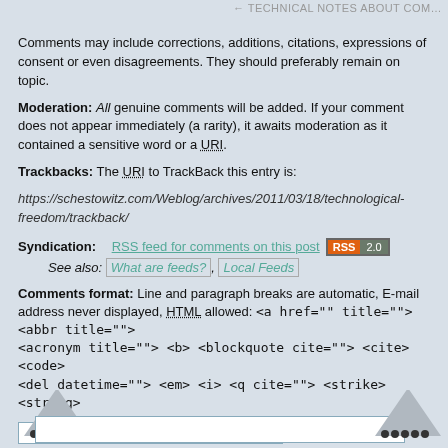← TECHNICAL NOTES ABOUT COM…
Comments may include corrections, additions, citations, expressions of consent or even disagreements. They should preferably remain on topic.
Moderation: All genuine comments will be added. If your comment does not appear immediately (a rarity), it awaits moderation as it contained a sensitive word or a URI.
Trackbacks: The URI to TrackBack this entry is:
https://schestowitz.com/Weblog/archives/2011/03/18/technological-freedom/trackback/
Syndication: RSS feed for comments on this post [RSS 2.0]
See also: What are feeds?, Local Feeds
Comments format: Line and paragraph breaks are automatic, E-mail address never displayed, HTML allowed: <a href="" title=""> <abbr title=""> <acronym title=""> <b> <blockquote cite=""> <cite> <code> <del datetime=""> <em> <i> <q cite=""> <strike> <strong>
Name [input field]
Mail (will not be published) [input field]
Website [input field]